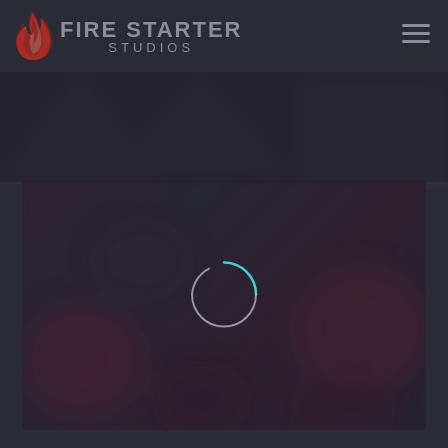[Figure (screenshot): Fire Starter Studios website screenshot showing dark navy header with flame logo and 'FIRE STARTER STUDIOS' text, hamburger menu icon on right, dark background with blurred reddish content area below, and a circular loading spinner (teal and light grey) in the center of the content area]
FIRE STARTER STUDIOS